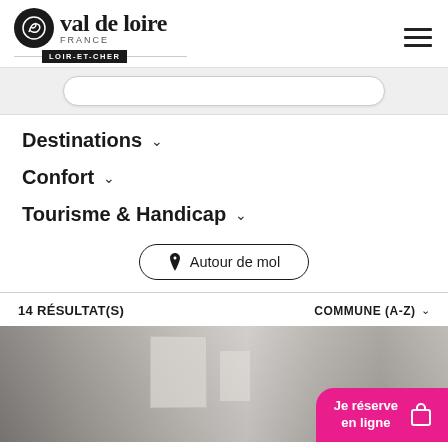Val de Loire FRANCE - LOIR-ET-CHER
[Figure (screenshot): Partially visible rounded search bar]
Destinations ∨
Confort ∨
Tourisme & Handicap ∨
Autour de mol
14 RÉSULTAT(S)
COMMUNE (A-Z) ∨
[Figure (photo): Interior room photo with Je réserve en ligne button overlay in pink]
Je réserve en ligne